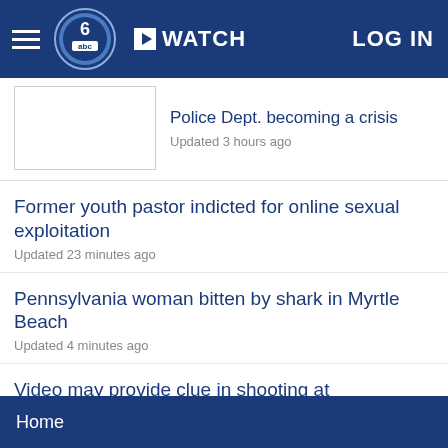WATCH   LOG IN
Police Dept. becoming a crisis
Updated 3 hours ago
Former youth pastor indicted for online sexual exploitation
Updated 23 minutes ago
Pennsylvania woman bitten by shark in Myrtle Beach
Updated 4 minutes ago
Video may provide clue in shooting at Philadelphia playground
Updated 3 hours ago
Pa. library director is one of few Black men to hold position
Updated 2 hours ago
SHOW MORE
Home